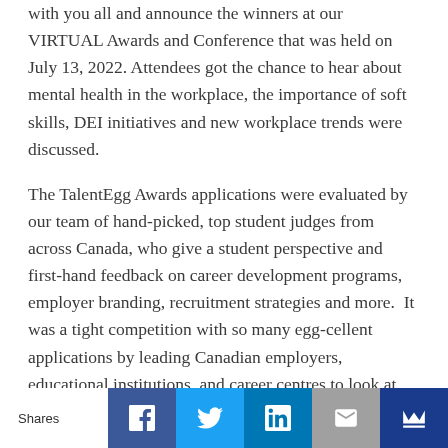with you all and announce the winners at our VIRTUAL Awards and Conference that was held on July 13, 2022. Attendees got the chance to hear about mental health in the workplace, the importance of soft skills, DEI initiatives and new workplace trends were discussed.
The TalentEgg Awards applications were evaluated by our team of hand-picked, top student judges from across Canada, who give a student perspective and first-hand feedback on career development programs, employer branding, recruitment strategies and more.  It was a tight competition with so many egg-cellent applications by leading Canadian employers, educational institutions, and career centres to look at.
Congratulations to the winners and all the finalists of
Shares | Facebook | Twitter | LinkedIn | Email | Crown